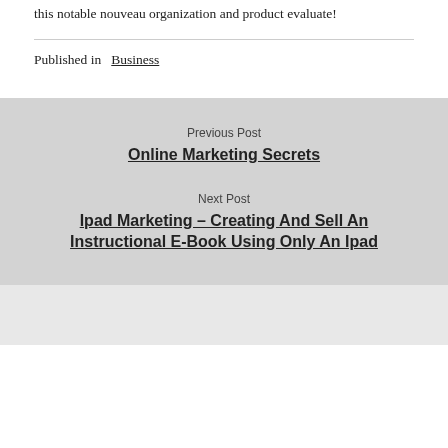this notable nouveau organization and product evaluate!
Published in  Business
Previous Post
Online Marketing Secrets
Next Post
Ipad Marketing – Creating And Sell An Instructional E-Book Using Only An Ipad